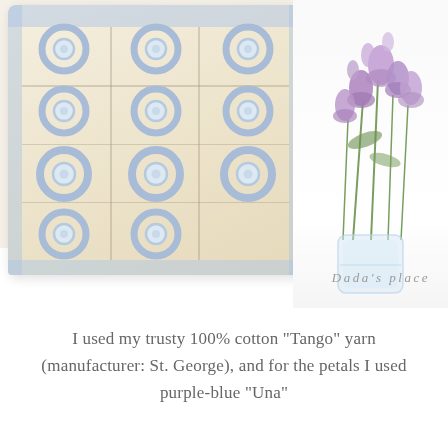[Figure (photo): A crocheted cream/beige pillow cover with blue flower motifs arranged in a grid pattern and a blue scalloped border, displayed alongside a vase of purple bell flowers on a white surface. Watermark text 'Dada's place' in italic script in the lower-right of the photo.]
I used my trusty 100% cotton "Tango" yarn (manufacturer: St. George), and for the petals I used purple-blue "Una"